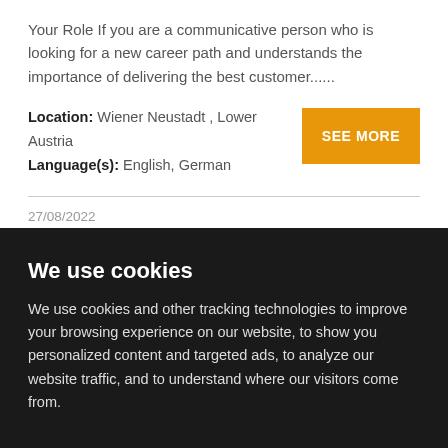Your Role If you are a communicative person who is looking for a new career path and understands the importance of delivering the best customer......
Location: Wiener Neustadt , Lower Austria
Language(s): English, German
SEE MORE
27/08/2022
LISSABON - German Speaker Consumer Care For Beauty Brand
We use cookies
We use cookies and other tracking technologies to improve your browsing experience on our website, to show you personalized content and targeted ads, to analyze our website traffic, and to understand where our visitors come from.